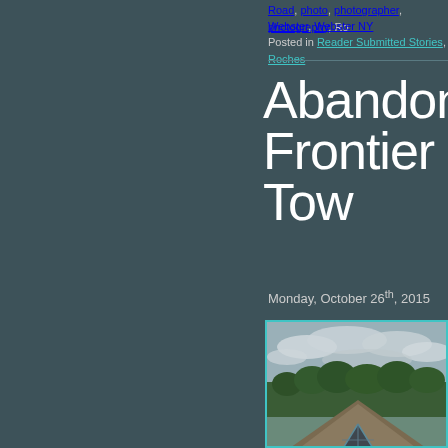Road, photo, photographer, photography, Ro... Webster, Webster NY
Posted in Reader Submitted Stories, Roches...
Abandoned Frontier Tow
Monday, October 26th, 2015
[Figure (photo): Aerial or elevated view of an A-frame building rooftop with triangular windows against a forested hillside and cloudy sky — abandoned Frontier Town]